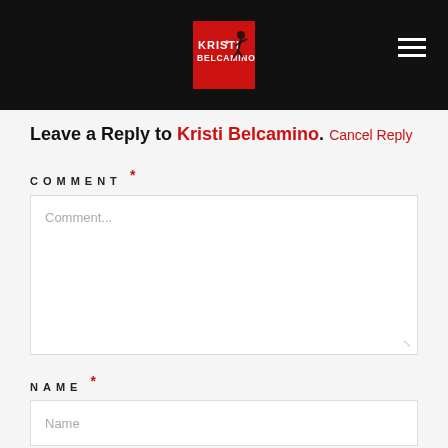[Figure (logo): Kristi Belcamino website logo — red background with white text reading KRISTI BELCAMINO and a silhouette figure, on a black header bar with hamburger menu icon on the right]
Leave a Reply to Kristi Belcamino. Cancel Reply
COMMENT *
Comment... (textarea placeholder)
NAME *
Name (input placeholder)
EMAIL *